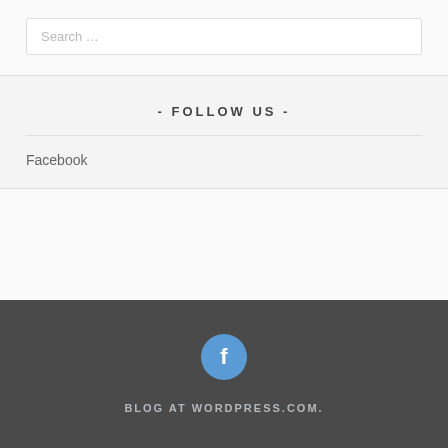Search …
- FOLLOW US -
Facebook
BLOG AT WORDPRESS.COM.